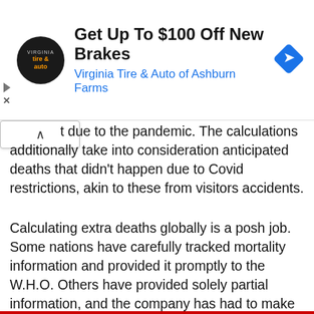[Figure (other): Advertisement banner for Virginia Tire & Auto of Ashburn Farms offering up to $100 off new brakes, with circular logo and blue navigation diamond icon]
t due to the pandemic. The calculations additionally take into consideration anticipated deaths that didn't happen due to Covid restrictions, akin to these from visitors accidents.
Calculating extra deaths globally is a posh job. Some nations have carefully tracked mortality information and provided it promptly to the W.H.O. Others have provided solely partial information, and the company has had to make use of modeling to spherical out the image. After which there's numerous nations, together with practically all of these in sub-Saharan Africa, that don't accumulate demise information and for which the statisticians have needed to rely solely on modeling.